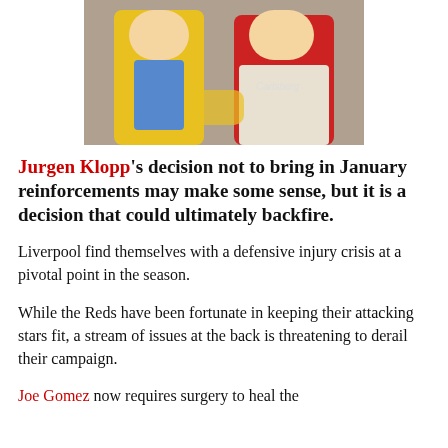[Figure (photo): Two people sitting together; one wearing a yellow jacket, one wearing a red Liverpool football shirt with 'Carlsberg' sponsor]
Jurgen Klopp's decision not to bring in January reinforcements may make some sense, but it is a decision that could ultimately backfire.
Liverpool find themselves with a defensive injury crisis at a pivotal point in the season.
While the Reds have been fortunate in keeping their attacking stars fit, a stream of issues at the back is threatening to derail their campaign.
Joe Gomez now requires surgery to heal the